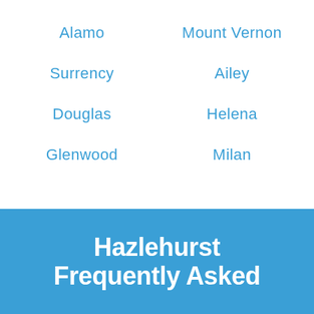Alamo
Mount Vernon
Surrency
Ailey
Douglas
Helena
Glenwood
Milan
Hazlehurst Frequently Asked